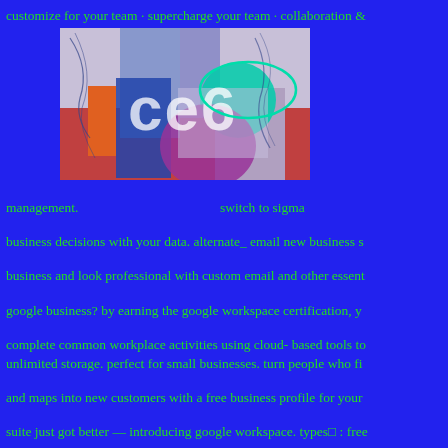customize for your team · supercharge your team · collaboration &
[Figure (illustration): Abstract colorful graphic with overlapping geometric shapes, text elements 'ce6' visible, bright colors including orange, green, teal, purple, red on a light background.]
management.    switch to sigma business decisions with your data. alternate_ email new business s business and look professional with custom email and other essent google business? by earning the google workspace certification, y complete common workplace activities using cloud- based tools to
unlimited storage. perfect for small businesses. turn people who fi and maps into new customers with a free business profile for your suite just got better — introducing google workspace. types□ : free businesses. contractors. agencies. consultants. firms. ensure ov